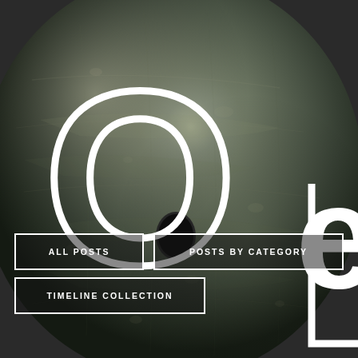[Figure (photo): Large stone disc/ring artifact with a hole in the center, dark grey textured stone, displayed against a dark background with large white letter overlays]
ALL POSTS
POSTS BY CATEGORY
TIMELINE COLLECTION